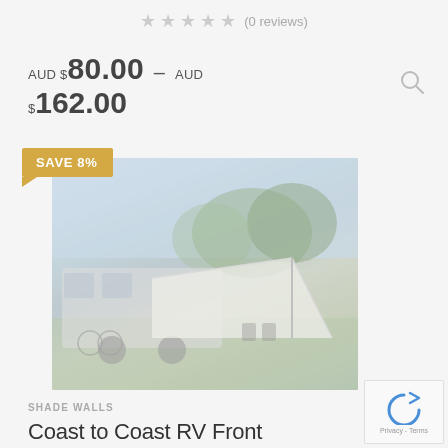★★★★★ (0 reviews)
AUD $80.00 – AUD $162.00
SAVE 8%
[Figure (photo): A caravan with a white tarp/awning extended outward, set on green grass with trees in the background. A bicycle and camping chairs are visible.]
SHADE WALLS
Coast to Coast RV Front